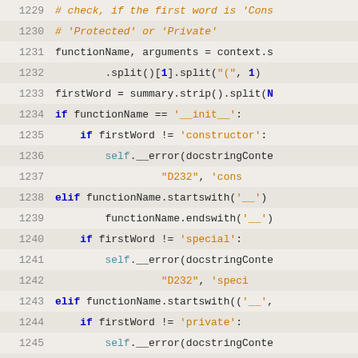[Figure (screenshot): Python source code viewer showing lines 1229-1255, with syntax highlighting. Line numbers in gray on left, code on right with orange comments, blue keywords, teal self/cls, orange strings.]